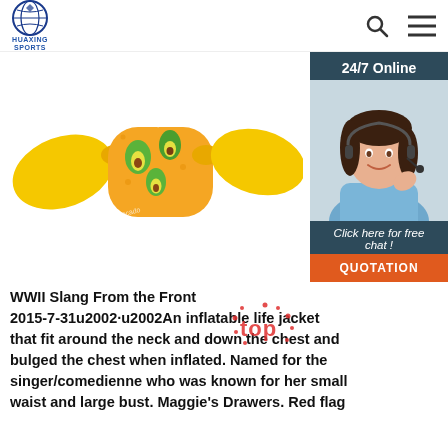HUAXING SPORTS
[Figure (photo): Orange inflatable children's swim arm floaties shaped like a candy/tube with yellow ends, decorated with avocado pattern. Displayed on white background.]
[Figure (photo): 24/7 Online chat widget showing a female customer service agent wearing a headset, with 'Click here for free chat!' text and an orange QUOTATION button, on a dark blue-grey background.]
[Figure (other): Red dotted 'TOP' stamp/watermark overlay in the lower right area of the product image.]
WWII Slang From the Front 2015-7-31u2002·u2002An inflatable life jacket that fit around the neck and down the chest and bulged the chest when inflated. Named for the singer/comedienne who was known for her small waist and large bust. Maggie's Drawers. Red flag